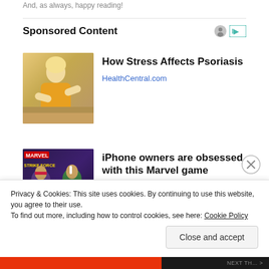And, as always, happy reading!
Sponsored Content
[Figure (photo): Woman in yellow sweater examining her arm, sitting on a couch]
How Stress Affects Psoriasis
HealthCentral.com
[Figure (photo): Marvel Strike Force game advertisement showing Gambit and Rogue characters]
iPhone owners are obsessed with this Marvel game
MARVEL Strike Force
Privacy & Cookies: This site uses cookies. By continuing to use this website, you agree to their use.
To find out more, including how to control cookies, see here: Cookie Policy
Close and accept